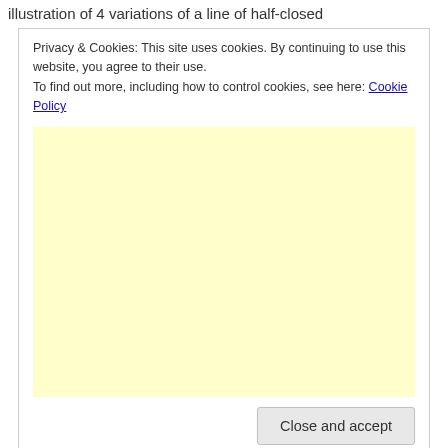illustration of 4 variations of a line of half-closed
Privacy & Cookies: This site uses cookies. By continuing to use this website, you agree to their use.
To find out more, including how to control cookies, see here: Cookie Policy
[Figure (other): Yellow/cream colored advertisement placeholder box]
Close and accept